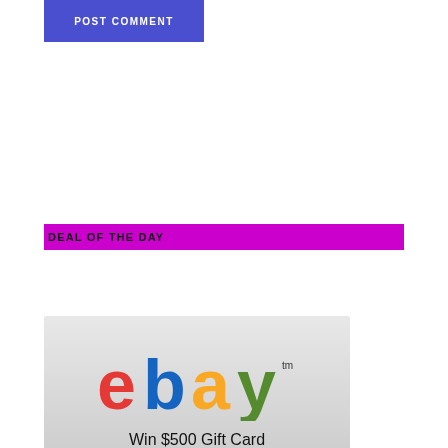POST COMMENT
DEAL OF THE DAY
[Figure (logo): eBay logo with colored letters and text 'Win $500 Gift Card' on gray gradient background]
Search this website